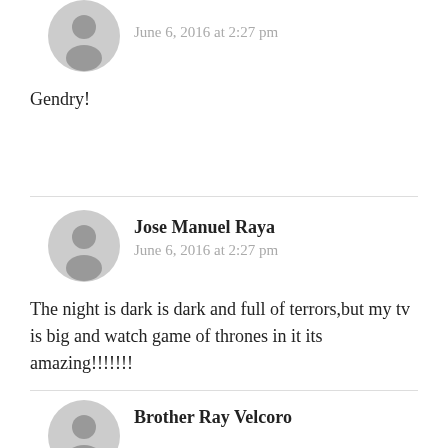June 6, 2016 at 2:27 pm
Gendry!
Jose Manuel Raya
June 6, 2016 at 2:27 pm
The night is dark is dark and full of terrors,but my tv is big and watch game of thrones in it its amazing!!!!!!!
Brother Ray Velcoro